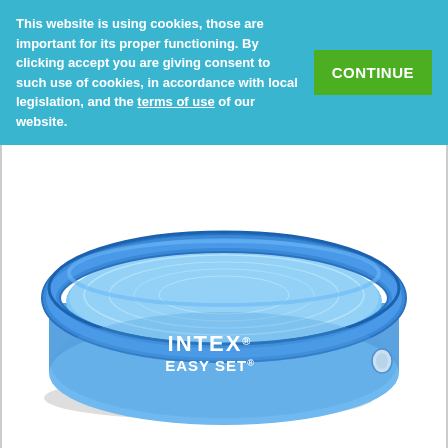This website is using cookies, those are important for its proper functioning. By clicking accept you are giving consent to such use of cookies, in accordance with local legislation, and the terms of use of our website.
[Figure (photo): Intex Easy Set inflatable above-ground swimming pool, round shape, blue color with white INTEX EASY SET logo on the side, filled with water, sitting on a white background with a light shadow beneath it.]